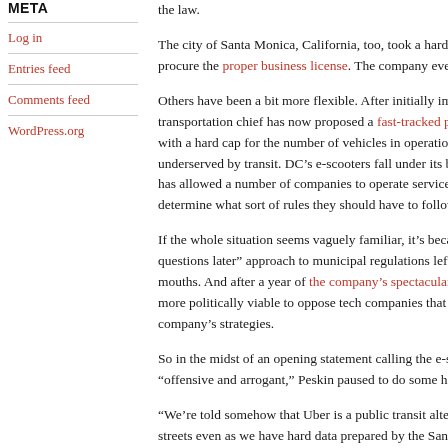META
Log in
Entries feed
Comments feed
WordPress.org
the law.
The city of Santa Monica, California, too, took a hard line to procure the proper business license. The company even
Others have been a bit more flexible. After initially imposing, transportation chief has now proposed a fast-tracked pe with a hard cap for the number of vehicles in operation underserved by transit. DC’s e-scooters fall under its b has allowed a number of companies to operate services determine what sort of rules they should have to follow
If the whole situation seems vaguely familiar, it’s beca questions later” approach to municipal regulations left mouths. And after a year of the company’s spectacular, more politically viable to oppose tech companies that e company’s strategies.
So in the midst of an opening statement calling the e-s“offensive and arrogant,” Peskin paused to do some ha
“We’re told somehow that Uber is a public transit alter streets even as we have hard data prepared by the San Authority that shows at peak in some parts of the city t